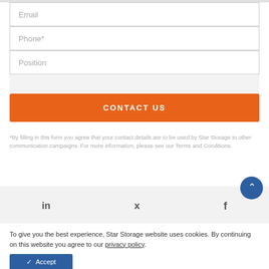Email
Phone*
Position
CONTACT US
*By filling in this form you agree that your contact details are to be used by Star Storage in other communication campaigns. For more information, please see our Terms and Conditions.
[Figure (other): Social media icons: LinkedIn (in), Twitter (bird), Facebook (f)]
To give you the best experience, Star Storage website uses cookies. By continuing on this website you agree to our privacy policy.
✓ Accept